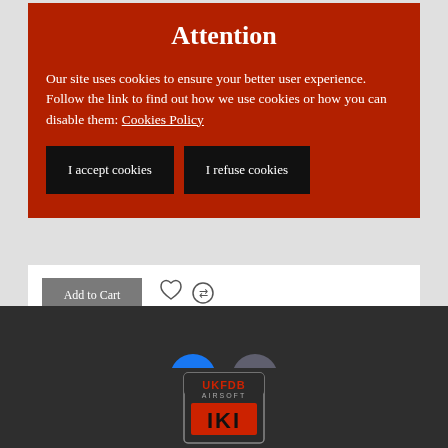Attention
Our site uses cookies to ensure your better user experience. Follow the link to find out how we use cookies or how you can disable them: Cookies Policy
I accept cookies
I refuse cookies
Add to Cart
[Figure (logo): Facebook and Instagram social media icons (circular buttons)]
[Figure (logo): UKFDB Airsoft logo badge with red and grey design]